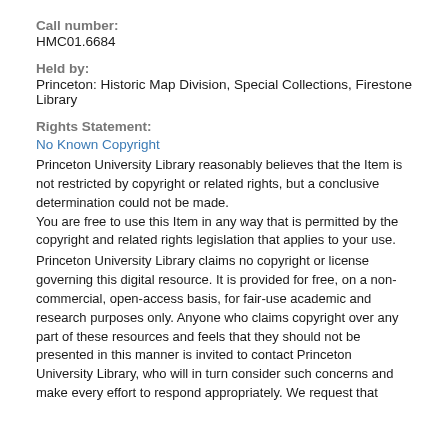Call number:
HMC01.6684
Held by:
Princeton: Historic Map Division, Special Collections, Firestone Library
Rights Statement:
No Known Copyright
Princeton University Library reasonably believes that the Item is not restricted by copyright or related rights, but a conclusive determination could not be made.
You are free to use this Item in any way that is permitted by the copyright and related rights legislation that applies to your use.
Princeton University Library claims no copyright or license governing this digital resource. It is provided for free, on a non-commercial, open-access basis, for fair-use academic and research purposes only. Anyone who claims copyright over any part of these resources and feels that they should not be presented in this manner is invited to contact Princeton University Library, who will in turn consider such concerns and make every effort to respond appropriately. We request that